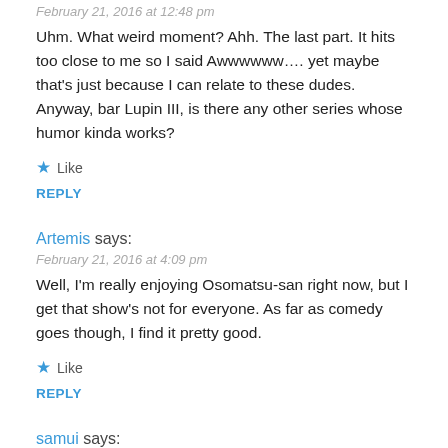February 21, 2016 at 12:48 pm
Uhm. What weird moment? Ahh. The last part. It hits too close to me so I said Awwwwww.... yet maybe that's just because I can relate to these dudes. Anyway, bar Lupin III, is there any other series whose humor kinda works?
Like
REPLY
Artemis says:
February 21, 2016 at 4:09 pm
Well, I'm really enjoying Osomatsu-san right now, but I get that show's not for everyone. As far as comedy goes though, I find it pretty good.
Like
REPLY
samui says: